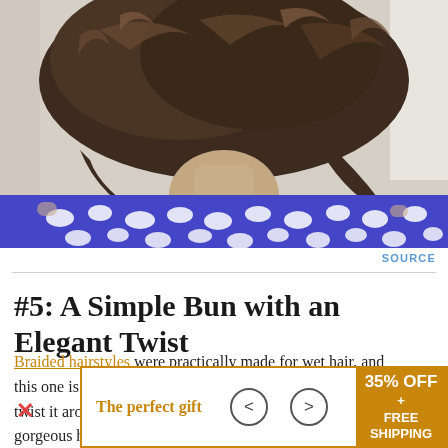[Figure (photo): Back view of a person with short, wavy brown hair, wearing a blue lace/cutout patterned top. The photo is cropped showing neck and shoulders area from behind.]
SOURCE
#5: A Simple Bun with an Elegant Twist
Braided hairstyles were practically made for wet hair, and this one is especially easy. Braid your hair when it's wet, twist it around into a bun, and voila! You've got a gorgeous hairstyle
[Figure (infographic): Advertisement banner: 'The perfect gift' with left/right navigation arrows and a golden badge showing '35% OFF + FREE SHIPPING']